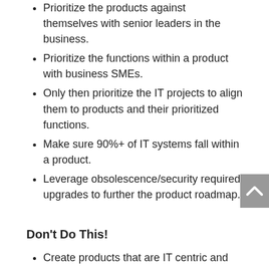Prioritize the products against themselves with senior leaders in the business.
Prioritize the functions within a product with business SMEs.
Only then prioritize the IT projects to align them to products and their prioritized functions.
Make sure 90%+ of IT systems fall within a product.
Leverage obsolescence/security required upgrades to further the product roadmap.
Don't Do This!
Create products that are IT centric and do not relate intuitively to the business (mobility, data analytics, cloud, etc.). These should be done as part of the product roadmap.
Create a catch-all product with no coherent vision